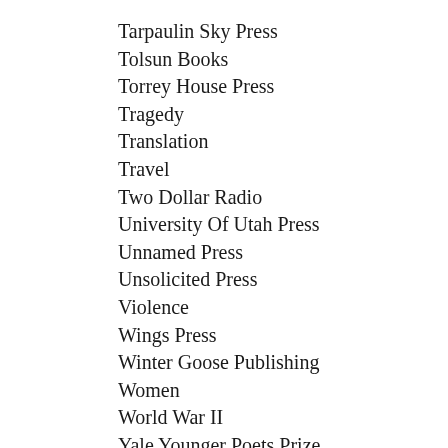Tarpaulin Sky Press
Tolsun Books
Torrey House Press
Tragedy
Translation
Travel
Two Dollar Radio
University Of Utah Press
Unnamed Press
Unsolicited Press
Violence
Wings Press
Winter Goose Publishing
Women
World War II
Yale Younger Poets Prize